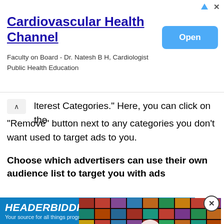[Figure (screenshot): Advertisement banner for Cardiovascular Health Channel featuring title in blue underlined text, subtitle 'Faculty on Board - Dr. Natesh B H, Cardiologist / Public Health Education', and a blue 'Open' button on the right. Small ad icons and X close button in top-right corner.]
lterest Categories." Here, you can click on the "Remove" button next to any categories you don't want used to target ads to you.
Choose which advertisers can use their own audience list to target you with ads
[Figure (screenshot): Video player overlay showing a mosaic of video thumbnails with a play button in the center. A close (X) button appears in a circle at top-right of the video. Bottom bar reads 'Streaming revolution has created a generation gap' with another close button.]
[Figure (screenshot): HEADERBIDDING.COM advertisement banner in blue with italic bold white text and subtitle 'Your source for all things programmatic advertising.' with X close button.]